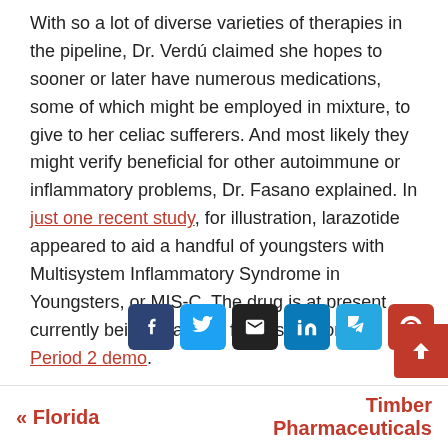With so a lot of diverse varieties of therapies in the pipeline, Dr. Verdú claimed she hopes to sooner or later have numerous medications, some of which might be employed in mixture, to give to her celiac sufferers. And most likely they might verify beneficial for other autoimmune or inflammatory problems, Dr. Fasano explained. In just one recent study, for illustration, larazotide appeared to aid a handful of youngsters with Multisystem Inflammatory Syndrome in Youngsters, or MIS-C. The drug is at present currently being analyzed for this reason in a Period 2 demo.
[Figure (other): Social share buttons: Facebook, Twitter, Email, LinkedIn, Telegram, Pinterest]
« Florida   Timber Pharmaceuticals